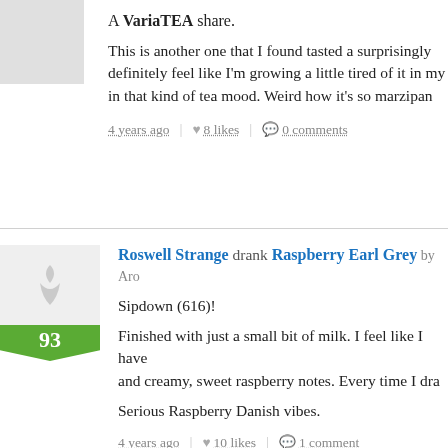A VariaTEA share.
This is another one that I found tasted a surprisingly definitely feel like I'm growing a little tired of it in my in that kind of tea mood. Weird how it's so marzipan
4 years ago | 8 likes | 0 comments
Roswell Strange drank Raspberry Earl Grey by Aro
Sipdown (616)!
Finished with just a small bit of milk. I feel like I have and creamy, sweet raspberry notes. Every time I dra
Serious Raspberry Danish vibes.
4 years ago | 10 likes | 1 comment